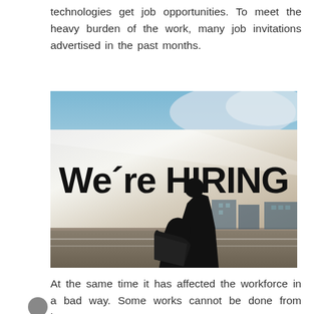technologies get job opportunities. To meet the heavy burden of the work, many job invitations advertised in the past months.
[Figure (photo): A 'We're HIRING' billboard or sign with large bold black text, and a silhouette of a person reading a document in front of it. Sky and buildings visible in the background.]
At the same time it has affected the workforce in a bad way. Some works cannot be done from home,